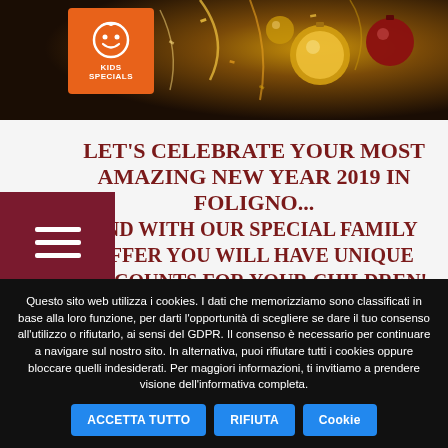[Figure (photo): Christmas/New Year celebration background with golden and red ornaments, confetti, dark warm-toned festive image]
[Figure (logo): Kids Specials orange logo box with smiley face icon and text KIDS SPECIALS]
LET'S CELEBRATE YOUR MOST AMAZING NEW YEAR 2019 IN FOLIGNO... AND WITH OUR SPECIAL FAMILY OFFER YOU WILL HAVE UNIQUE DISCOUNTS FOR YOUR CHILDREN!
(from December, 28th 2018 to January, 2rd 2019)
LEGGI TUTTO...
Questo sito web utilizza i cookies. I dati che memorizziamo sono classificati in base alla loro funzione, per darti l'opportunità di scegliere se dare il tuo consenso all'utilizzo o rifiutarlo, ai sensi del GDPR. Il consenso è necessario per continuare a navigare sul nostro sito. In alternativa, puoi rifiutare tutti i cookies oppure bloccare quelli indesiderati. Per maggiori informazioni, ti invitiamo a prendere visione dell'informativa completa.
ACCETTA TUTTO | RIFIUTA | Cookie